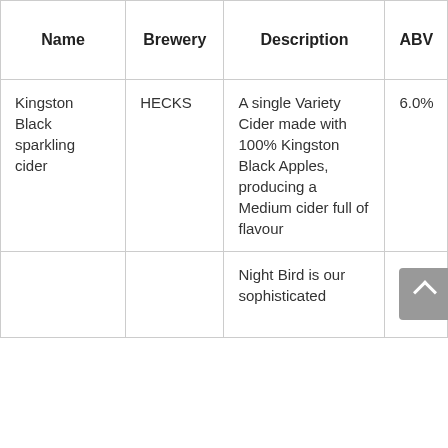| Name | Brewery | Description | ABV |
| --- | --- | --- | --- |
| Kingston Black sparkling cider | HECKS | A single Variety Cider made with 100% Kingston Black Apples, producing a Medium cider full of flavour | 6.0% |
|  |  | Night Bird is our sophisticated |  |